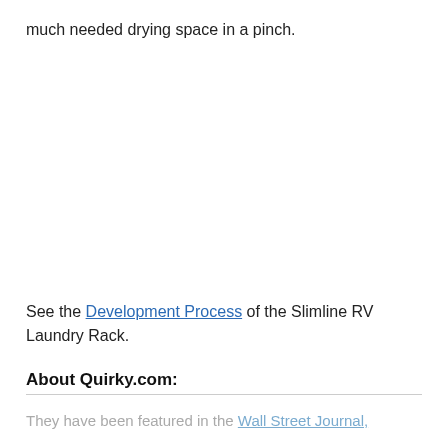much needed drying space in a pinch.
See the Development Process of the Slimline RV Laundry Rack.
About Quirky.com:
They have been featured in the Wall Street Journal,